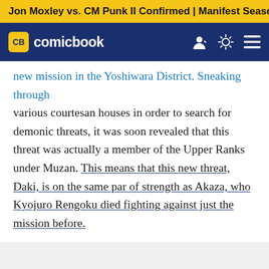Jon Moxley vs. CM Punk II Confirmed | Manifest Season 4 Pr
[Figure (logo): ComicBook (CB) logo in dark navy navigation bar with user icon, theme toggle, and hamburger menu]
new mission in the Yoshiwara District. Sneaking through various courtesan houses in order to search for demonic threats, it was soon revealed that this threat was actually a member of the Upper Ranks under Muzan. This means that this new threat, Daki, is on the same par of strength as Akaza, who Kyojuro Rengoku died fighting against just the mission before.